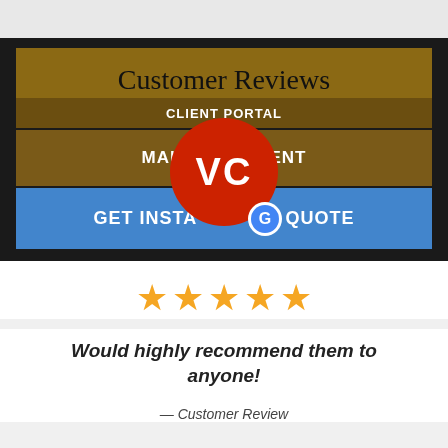[Figure (screenshot): Website UI screenshot showing Customer Reviews header, CLIENT PORTAL link, MAKE A PAYMENT button, GET INSTANT QUOTE button in blue, with a red VC circle badge overlaid and a Google G badge]
[Figure (infographic): Five gold star rating icons]
Would highly recommend them to anyone!
— Customer Review